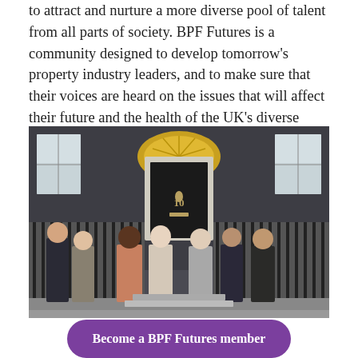to attract and nurture a more diverse pool of talent from all parts of society. BPF Futures is a community designed to develop tomorrow's property industry leaders, and to make sure that their voices are heard on the issues that will affect their future and the health of the UK's diverse communities.
[Figure (photo): Group of seven people standing in front of 10 Downing Street, London. They are dressed in professional/business attire. The iconic black door with the number 10 and a fan-lit window above it is visible in the background.]
Become a BPF Futures member